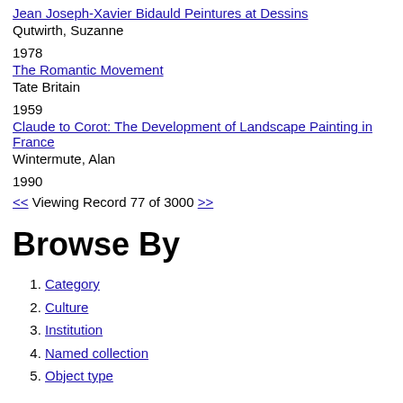Jean Joseph-Xavier Bidauld Peintures at Dessins
Qutwirth, Suzanne
1978
The Romantic Movement
Tate Britain
1959
Claude to Corot: The Development of Landscape Painting in France
Wintermute, Alan
1990
<< Viewing Record 77 of 3000 >>
Browse By
Category
Culture
Institution
Named collection
Object type